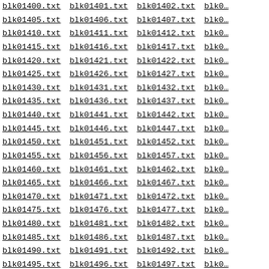Grid of file links: blk01400.txt through blk01522.txt arranged in 4-column layout with underlined monospace text